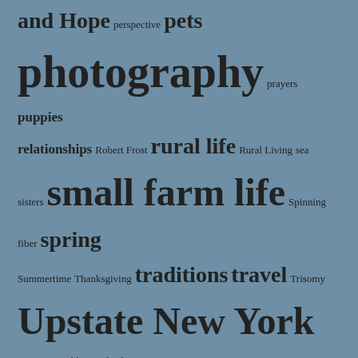and Hope perspective pets photography prayers puppies relationships Robert Frost rural life Rural Living sea sisters small farm life Spinning fiber spring Summertime Thanksgiving traditions travel Trisomy Upstate New York vacation weddings wheel barrow
ARCHIVES
July 2015 (8)
June 2015 (5)